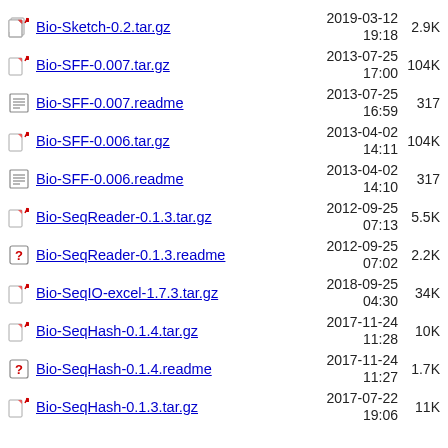Bio-Sketch-0.2.tar.gz  2019-03-12 19:18  2.9K
Bio-SFF-0.007.tar.gz  2013-07-25 17:00  104K
Bio-SFF-0.007.readme  2013-07-25 16:59  317
Bio-SFF-0.006.tar.gz  2013-04-02 14:11  104K
Bio-SFF-0.006.readme  2013-04-02 14:10  317
Bio-SeqReader-0.1.3.tar.gz  2012-09-25 07:13  5.5K
Bio-SeqReader-0.1.3.readme  2012-09-25 07:02  2.2K
Bio-SeqIO-excel-1.7.3.tar.gz  2018-09-25 04:30  34K
Bio-SeqHash-0.1.4.tar.gz  2017-11-24 11:28  10K
Bio-SeqHash-0.1.4.readme  2017-11-24 11:27  1.7K
Bio-SeqHash-0.1.3.tar.gz  2017-07-22 19:06  11K